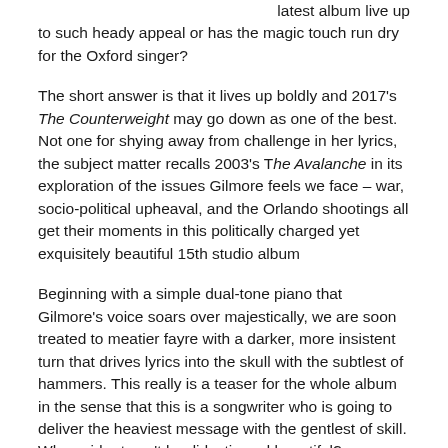latest album live up to such heady appeal or has the magic touch run dry for the Oxford singer?
The short answer is that it lives up boldly and 2017's The Counterweight may go down as one of the best. Not one for shying away from challenge in her lyrics, the subject matter recalls 2003's The Avalanche in its exploration of the issues Gilmore feels we face – war, socio-political upheaval, and the Orlando shootings all get their moments in this politically charged yet exquisitely beautiful 15th studio album
Beginning with a simple dual-tone piano that Gilmore's voice soars over majestically, we are soon treated to meatier fayre with a darker, more insistent turn that drives lyrics into the skull with the subtlest of hammers. This really is a teaser for the whole album in the sense that this is a songwriter who is going to deliver the heaviest message with the gentlest of skill. Who said art can't be didactic and beautiful?